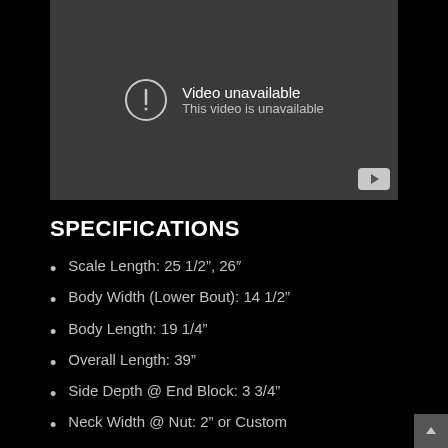[Figure (screenshot): Video unavailable placeholder with dark gray background, exclamation circle icon, text 'Video unavailable / This video is unavailable', and a YouTube button in the bottom right corner.]
SPECIFICATIONS
Scale Length: 25 1/2", 26"
Body Width (Lower Bout): 14 1/2"
Body Length: 19 1/4"
Overall Length: 39"
Side Depth @ End Block: 3 3/4"
Neck Width @ Nut: 2" or Custom
Soundboard: Cedar or Redwood (European Spruce Optional)